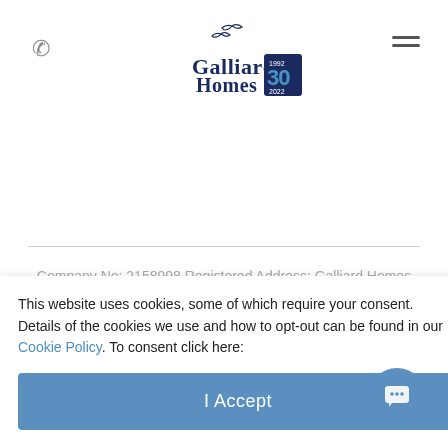[Figure (logo): Galliard Homes logo with 30th anniversary badge]
Company No: 2158998 Registered Address: Galliard Homes Limited, 3rd Floor, Sterling House, Langston Road, Loughton, IG10 3TS. ☎ +44 (0) 20 3797 1939
© Copyright 2022 Galliard Homes | Privacy Policy | Terms and ... very Policy |
This website uses cookies, some of which require your consent. Details of the cookies we use and how to opt-out can be found in our Cookie Policy. To consent click here:
I Accept